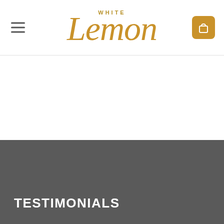White Lemon
BABY & KIDS
PAW PATROL RYDER'S ALPHABET PAD
$44.95
TESTIMONIALS